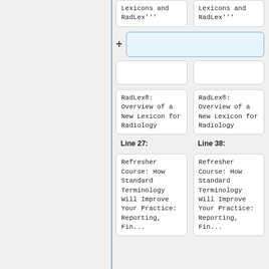Lexicons and RadLex'''
Lexicons and RadLex'''
+
RadLex®: Overview of a New Lexicon for Radiology
RadLex®: Overview of a New Lexicon for Radiology
Line 27:
Line 38:
Refresher Course: How Standard Terminology Will Improve Your Practice: Reporting,
Refresher Course: How Standard Terminology Will Improve Your Practice: Reporting,